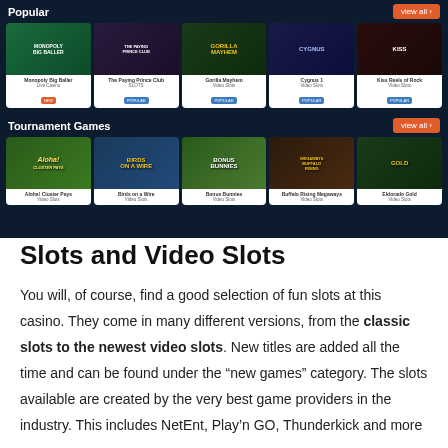[Figure (screenshot): Casino website screenshot showing Popular and Tournament Games sections with game thumbnails including Monopoly Big Baller, The Paying Prince Club, Gorilla Mayhem, Cygnus 1, Kiss Reels of Rock, Aloha Cluster Pays, Birds on a Wire, Bonus Bunnies, Buffalo Rising Megaways, Eldorado Gold]
Slots and Video Slots
You will, of course, find a good selection of fun slots at this casino. They come in many different versions, from the classic slots to the newest video slots. New titles are added all the time and can be found under the “new games” category. The slots available are created by the very best game providers in the industry. This includes NetEnt, Play’n GO, Thunderkick and more